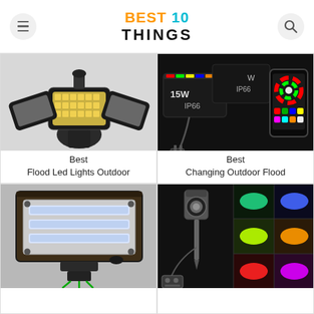BEST 10 THINGS
[Figure (photo): Triple-head outdoor LED flood light in black metal housing with adjustable arms, mounted on a round base]
Best
Flood Led Lights Outdoor
[Figure (photo): RGB color-changing outdoor flood lights rated 15W IP66 with a smartphone showing a color control app]
Best
Changing Outdoor Flood
[Figure (photo): Large rectangular LED flood light in dark bronze housing mounted on a bracket with wiring below]
[Figure (photo): Spike-mounted outdoor LED spotlight with color grid showing green, blue, yellow, orange, red, pink color modes and a remote control]